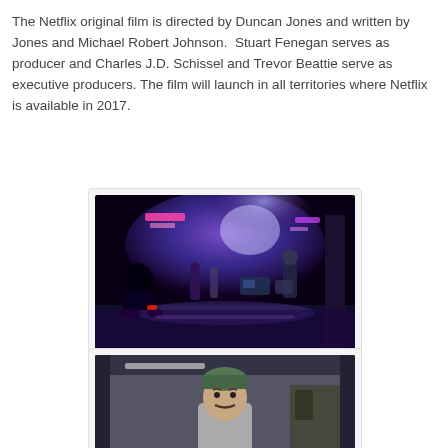The Netflix original film is directed by Duncan Jones and written by Jones and Michael Robert Johnson.  Stuart Fenegan serves as producer and Charles J.D. Schissel and Trevor Beattie serve as executive producers. The film will launch in all territories where Netflix is available in 2017.
[Figure (photo): A dark, neon-lit futuristic alleyway street scene at night with several people, including a person on a motorcycle on the left and a man holding something on the right, with blue and purple neon lights and a wet reflective ground.]
[Figure (photo): A man with a mustache wearing a green beanie hat and a grey top, standing in what appears to be an industrial or garage setting with muted tones.]